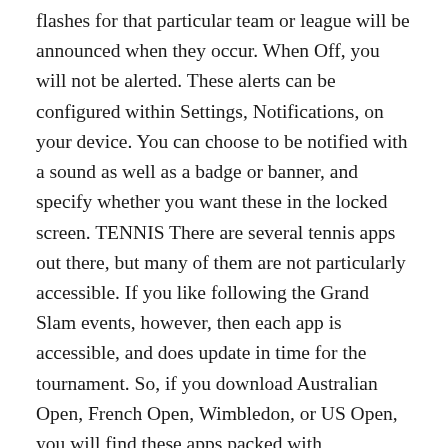flashes for that particular team or league will be announced when they occur. When Off, you will not be alerted. These alerts can be configured within Settings, Notifications, on your device. You can choose to be notified with a sound as well as a badge or banner, and specify whether you want these in the locked screen. TENNIS There are several tennis apps out there, but many of them are not particularly accessible. If you like following the Grand Slam events, however, then each app is accessible, and does update in time for the tournament. So, if you download Australian Open, French Open, Wimbledon, or US Open, you will find these apps packed with information, scores, and often a radio station to listen to live commentary. These are free apps, available from the App Store, and are a must-have for all dedicated